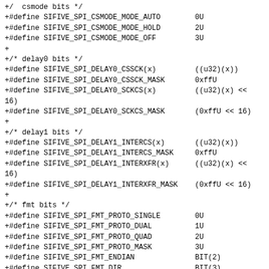+/  csmode bits */
+#define SIFIVE_SPI_CSMODE_MODE_AUTO        0U
+#define SIFIVE_SPI_CSMODE_MODE_HOLD        2U
+#define SIFIVE_SPI_CSMODE_MODE_OFF         3U
+
+/* delay0 bits */
+#define SIFIVE_SPI_DELAY0_CSSCK(x)         ((u32)(x))
+#define SIFIVE_SPI_DELAY0_CSSCK_MASK       0xffU
+#define SIFIVE_SPI_DELAY0_SCKCS(x)         ((u32)(x) << 16)
+#define SIFIVE_SPI_DELAY0_SCKCS_MASK       (0xffU << 16)
+
+/* delay1 bits */
+#define SIFIVE_SPI_DELAY1_INTERCS(x)       ((u32)(x))
+#define SIFIVE_SPI_DELAY1_INTERCS_MASK     0xffU
+#define SIFIVE_SPI_DELAY1_INTERXFR(x)      ((u32)(x) << 16)
+#define SIFIVE_SPI_DELAY1_INTERXFR_MASK    (0xffU << 16)
+
+/* fmt bits */
+#define SIFIVE_SPI_FMT_PROTO_SINGLE        0U
+#define SIFIVE_SPI_FMT_PROTO_DUAL          1U
+#define SIFIVE_SPI_FMT_PROTO_QUAD          2U
+#define SIFIVE_SPI_FMT_PROTO_MASK          3U
+#define SIFIVE_SPI_FMT_ENDIAN              BIT(2)
+#define SIFIVE_SPI_FMT_DIR                 BIT(3)
+#define SIFIVE_SPI_FMT_LEN(x)              ((u32)(x) << 16)
+#define SIFIVE_SPI_FMT_LEN_MASK            (0xfU << 16)
+
+/* txdata bits */